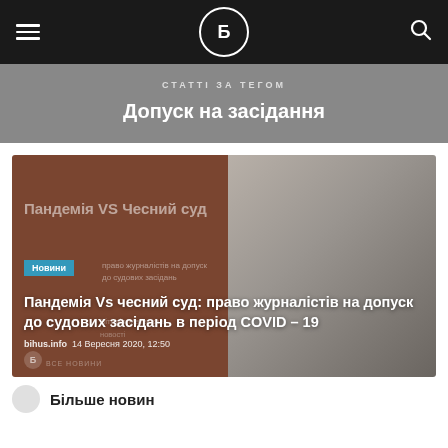Bihus.info navigation header with logo
СТАТТІ ЗА ТЕГОМ
Допуск на засідання
[Figure (photo): Article card with photo of a man in suit on right side and brownish-red background on left, with overlaid text about pandemic and court access]
Новини
Пандемія Vs чесний суд: право журналістів на допуск до судових засідань в період COVID – 19
bihus.info  14 Вересня 2020, 12:50
Більше новин